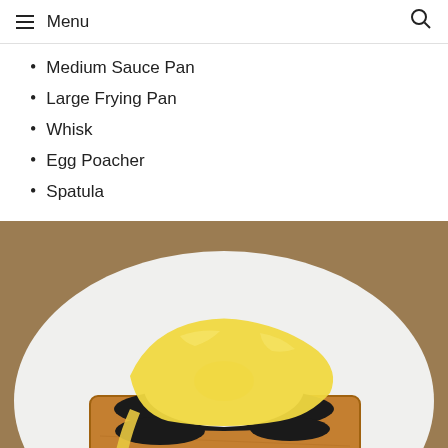≡ Menu  🔍
Medium Sauce Pan
Large Frying Pan
Whisk
Egg Poacher
Spatula
[Figure (photo): Eggs Benedict on toast with hollandaise sauce and dark greens on a white plate, with a scroll-to-top button in corner and a watermark reading CheesyRecipes.]